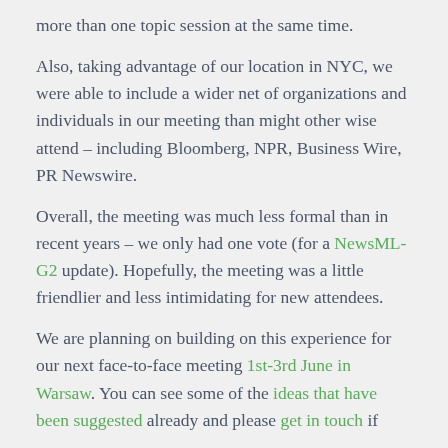more than one topic session at the same time.
Also, taking advantage of our location in NYC, we were able to include a wider net of organizations and individuals in our meeting than might other wise attend – including Bloomberg, NPR, Business Wire, PR Newswire.
Overall, the meeting was much less formal than in recent years – we only had one vote (for a NewsML-G2 update). Hopefully, the meeting was a little friendlier and less intimidating for new attendees.
We are planning on building on this experience for our next face-to-face meeting 1st-3rd June in Warsaw. You can see some of the ideas that have been suggested already and please get in touch if